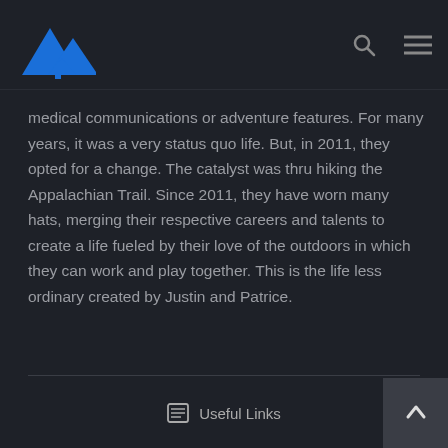[Logo: mountain/hiking icon] [search icon] [menu icon]
medical communications or adventure features. For many years, it was a very status quo life. But, in 2011, they opted for a change. The catalyst was thru hiking the Appalachian Trail. Since 2011, they have worn many hats, merging their respective careers and talents to create a life fueled by their love of the outdoors in which they can work and play together. This is the life less ordinary created by Justin and Patrice.
Useful Links